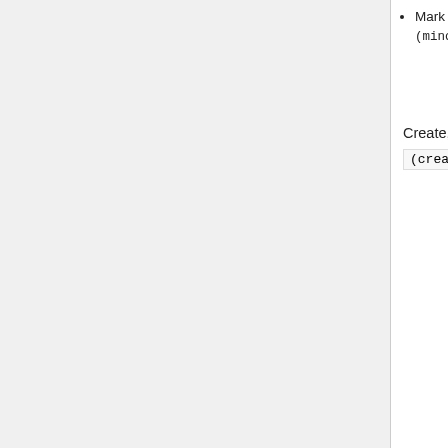| Permission group | Permissions |
| --- | --- |
| (partial top row, cut off) | Mark edits as minor (minor)
(changeable content visible cut off) |
| Create, edit, and move pages
(createeditmovepage) | Add and change tags on items and log entries (changetags)
Apply tags to changes (applytags)
Create categories (createcategory)
Create pages that are not discussion pages (createpage)
Delete subpages and redirects (delete-redirect)
Edit pages (editpage)
Edit the (cut off) |